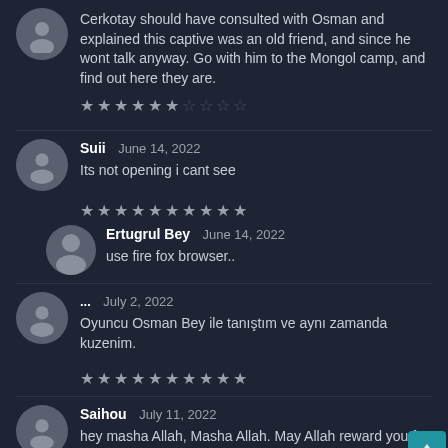Cerkotay should have consulted with Osman and explained this captive was an old friend, and since he wont talk anyway. Go with him to the Mongol camp, and find out here they are.
[Figure (other): Star rating: 6 filled stars out of 10]
Suii  June 14, 2022
Its not opening i cant see
[Figure (other): Star rating: 10 filled stars out of 10]
Ertugrul Bey  June 14, 2022
use fire fox browser..
...  July 2, 2022
Oyuncu Osman Bey ile tanıştım ve aynı zamanda kuzenim.
[Figure (other): Star rating: 10 filled stars out of 10]
Saihou  July 11, 2022
hey masha Allah, Masha Allah. May Allah reward you for your efforts. Welldone.